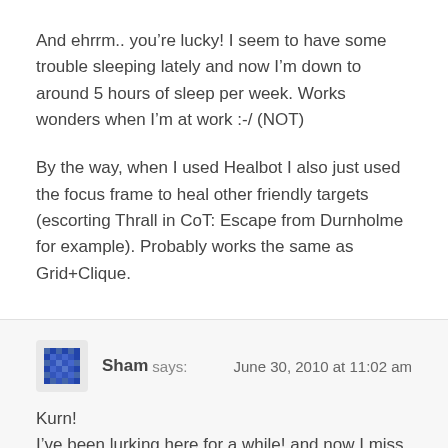And ehrrm.. you’re lucky! I seem to have some trouble sleeping lately and now I’m down to around 5 hours of sleep per week. Works wonders when I’m at work :-/ (NOT)
By the way, when I used Healbot I also just used the focus frame to heal other friendly targets (escorting Thrall in CoT: Escape from Durnholme for example). Probably works the same as Grid+Clique.
Sham says: June 30, 2010 at 11:02 am
Kurn!
I’ve been lurking here for a while! and now I miss Maj :( You guys need to come back to ET so we can